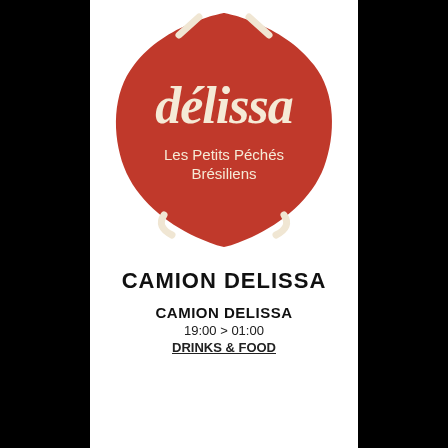[Figure (logo): Délissa logo: red teardrop/shield shape with cream italic script 'délissa' and cream text 'Les Petits Péchés Brésiliens' inside]
CAMION DELISSA
CAMION DELISSA
19:00 > 01:00
DRINKS & FOOD